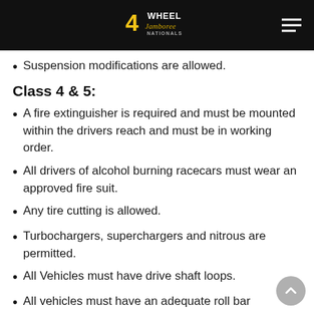4 Wheel Jamboree Nationals
Suspension modifications are allowed.
Class 4 & 5:
A fire extinguisher is required and must be mounted within the drivers reach and must be in working order.
All drivers of alcohol burning racecars must wear an approved fire suit.
Any tire cutting is allowed.
Turbochargers, superchargers and nitrous are permitted.
All Vehicles must have drive shaft loops.
All vehicles must have an adequate roll bar